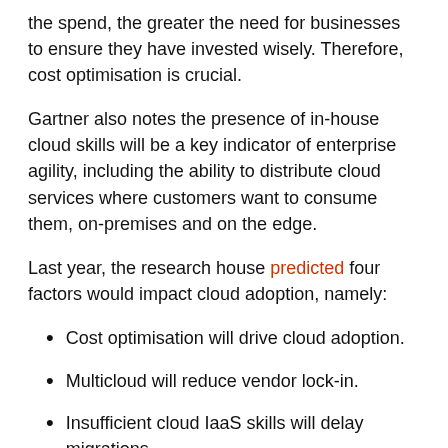the spend, the greater the need for businesses to ensure they have invested wisely. Therefore, cost optimisation is crucial.
Gartner also notes the presence of in-house cloud skills will be a key indicator of enterprise agility, including the ability to distribute cloud services where customers want to consume them, on-premises and on the edge.
Last year, the research house predicted four factors would impact cloud adoption, namely:
Cost optimisation will drive cloud adoption.
Multicloud will reduce vendor lock-in.
Insufficient cloud IaaS skills will delay migrations.
Distributed cloud will support expanded service availability.